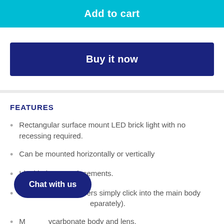Add to cart
Buy it now
FEATURES
Rectangular surface mount LED brick light with no recessing required.
Can be mounted horizontally or vertically
Ideal halogen replacements.
Interchangeable covers simply click into the main body (sold separately).
M... polycarbonate body and lens.
Can be used both indoor and outdoor
Chat with us